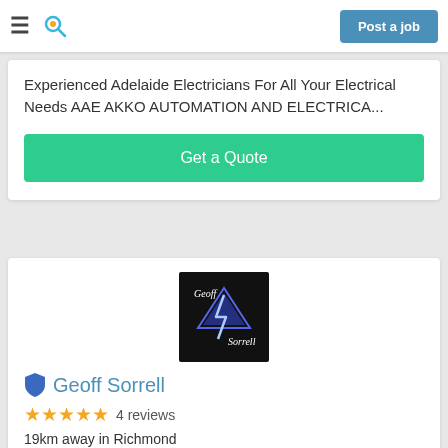Post a job
Experienced Adelaide Electricians For All Your Electrical Needs AAE AKKO AUTOMATION AND ELECTRICA...
Get a Quote
[Figure (logo): Geoff Sorrell electrician business logo — black background with stylized lightning bolt and text 'Geoff Sorrell']
Geoff Sorrell
4 reviews
19km away in Richmond